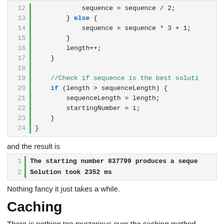[Figure (screenshot): Code snippet showing lines 12-24 of a loop in monospace font with green line indicator and syntax highlighting. Lines: 12: sequence = sequence / 2; 13: } else { 14: sequence = sequence * 3 + 1; 15: } 16: length++; 17: } 18: (blank) 19: //Check if sequence is the best soluti... 20: if (length > sequenceLength) { 21: sequenceLength = length; 22: startingNumber = i; 23: } 24: }]
and the result is
[Figure (screenshot): Output block showing: 1: The starting number 837799 produces a seque... 2: Solution took 2352 ms]
Nothing fancy it just takes a while.
Caching
There is nothing too mysterious over the caching method either. I just store the results I have already calculated.  I use an array as cache, since I know the necessary and sufficient